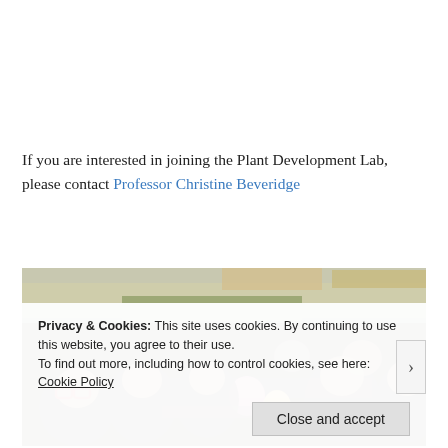If you are interested in joining the Plant Development Lab, please contact Professor Christine Beveridge
[Figure (photo): Group photo of Plant Development Lab members seated at a long table outdoors at a social gathering, with balloons and food visible.]
Privacy & Cookies: This site uses cookies. By continuing to use this website, you agree to their use. To find out more, including how to control cookies, see here: Cookie Policy
Close and accept